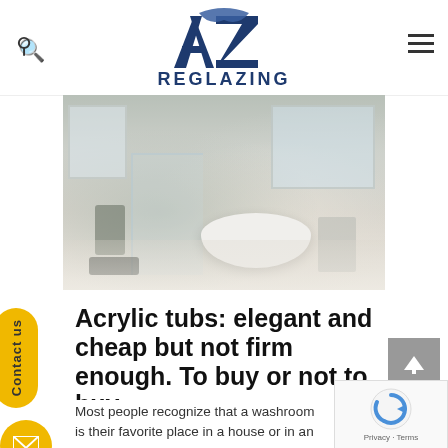[Figure (logo): AZ Reglazing logo with stylized A and Z letters in dark blue/navy, with swoosh element, and REGLAZING text below]
[Figure (photo): Elegant white bathroom interior with freestanding soaking tub, glass shower enclosure, marble floors, and large windows]
Acrylic tubs: elegant and cheap but not firm enough. To buy or not to buy
Most people recognize that a washroom is their favorite place in a house or in an apartment. They are able to relax there, forget about the problems